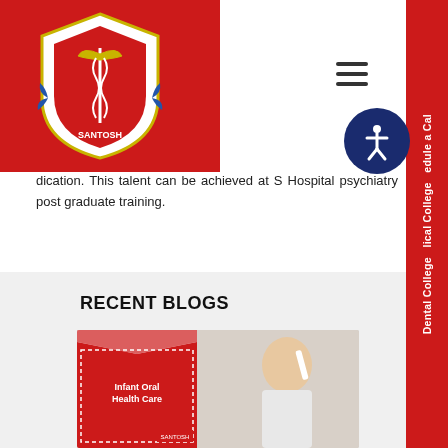[Figure (logo): Santosh medical college logo - red shield with caduceus symbol on red background header]
dication. This talent can be achieved at S Hospital psychiatry post graduate training.
RECENT BLOGS
[Figure (photo): Blog thumbnail image for Infant Oral Health Care - child brushing teeth with red Santosh branded overlay]
INFANT ORAL HEALTH CARE
15 Aug, 2022
[Figure (photo): Blog thumbnail image for Prevention of Dental Trauma Care - dental procedure photo with red Santosh branded overlay]